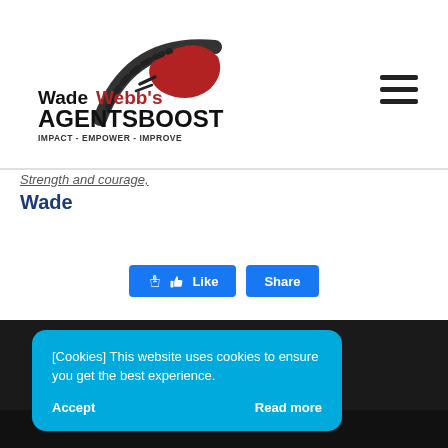[Figure (logo): Wade Webb's AgentsBoost logo with swoosh/ribbon graphic in black and red. Text: Wade Webb's AGENTSBOOST, IMPACT - EMPOWER - IMPROVE]
Strength and courage,
Wade
[Figure (screenshot): Facebook Like and Share buttons side by side]
[Cookies] This website uses cookies to ensure you get the best experience.
Accept
Read more